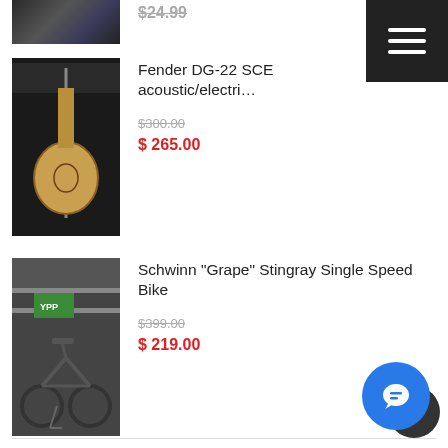[Figure (photo): Partially visible product image at top of page, dark surface/mat]
$[price partially visible]
[Figure (photo): Fender DG-22 SCE acoustic/electric guitar displayed on dark background]
Fender DG-22 SCE acoustic/electric
$300.00 (strikethrough original price)
$265.00
[Figure (photo): Schwinn Grape Stingray Single Speed Bike displayed in store]
Schwinn "Grape" Stingray Single Speed Bike
$399.00 (strikethrough original price)
$219.00